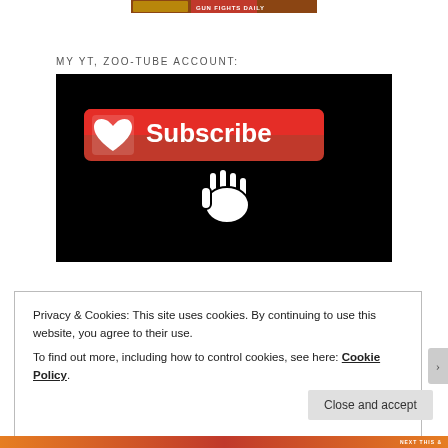[Figure (screenshot): Top banner image strip showing 'GUN FIGHTS DAILY' text]
MY YT, ZOO-TUBE ACCOUNT:
[Figure (screenshot): Black video embed box showing a red Subscribe button with heart icon and a white cursor/hand pointer icon below it]
Privacy & Cookies: This site uses cookies. By continuing to use this website, you agree to their use.
To find out more, including how to control cookies, see here: Cookie Policy
Close and accept